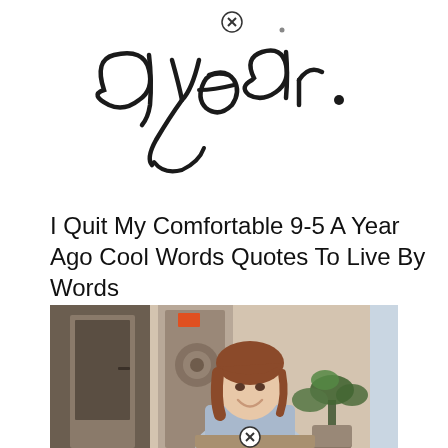[Figure (illustration): Handwritten script text 'a year.' in black ink on white background]
I Quit My Comfortable 9-5 A Year Ago Cool Words Quotes To Live By Words
[Figure (photo): A smiling woman with auburn hair sitting near a window in a cafe-like space, with a green plant beside her and blurred background showing a decorative door. She wears a light blue shirt.]